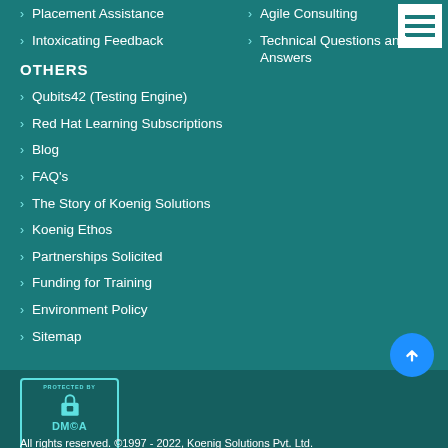Placement Assistance
Intoxicating Feedback
Agile Consulting
Technical Questions and Answers
OTHERS
Qubits42 (Testing Engine)
Red Hat Learning Subscriptions
Blog
FAQ's
The Story of Koenig Solutions
Koenig Ethos
Partnerships Solicited
Funding for Training
Environment Policy
Sitemap
[Figure (logo): DMCA Protected badge with padlock icon]
All rights reserved. ©1997 - 2022, Koenig Solutions Pvt. Ltd.